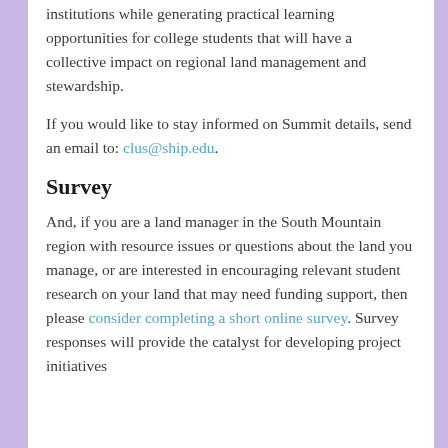institutions while generating practical learning opportunities for college students that will have a collective impact on regional land management and stewardship.
If you would like to stay informed on Summit details, send an email to: clus@ship.edu.
Survey
And, if you are a land manager in the South Mountain region with resource issues or questions about the land you manage, or are interested in encouraging relevant student research on your land that may need funding support, then please consider completing a short online survey. Survey responses will provide the catalyst for developing project initiatives